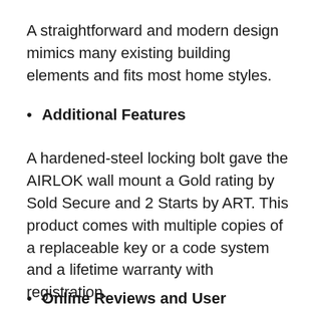A straightforward and modern design mimics many existing building elements and fits most home styles.
Additional Features
A hardened-steel locking bolt gave the AIRLOK wall mount a Gold rating by Sold Secure and 2 Starts by ART. This product comes with multiple copies of a replaceable key or a code system and a lifetime warranty with registration.
Online Reviews and User Experiences